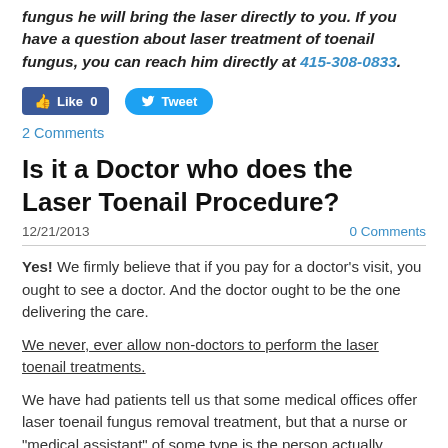fungus he will bring the laser directly to you. If you have a question about laser treatment of toenail fungus, you can reach him directly at 415-308-0833.
[Figure (other): Facebook Like button (0 likes) and Twitter Tweet button]
2 Comments
Is it a Doctor who does the Laser Toenail Procedure?
12/21/2013   0 Comments
Yes! We firmly believe that if you pay for a doctor's visit, you ought to see a doctor. And the doctor ought to be the one delivering the care.
We never, ever allow non-doctors to perform the laser toenail treatments.
We have had patients tell us that some medical offices offer laser toenail fungus removal treatment, but that a nurse or “medical assistant” of some type is the person actually performing the laser